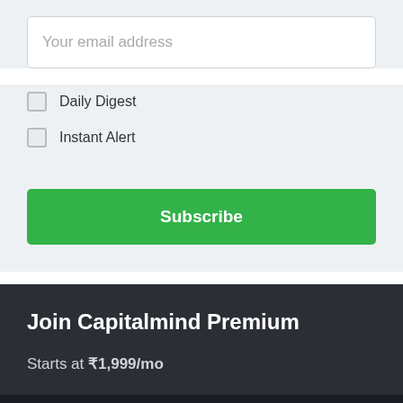Your email address
Daily Digest
Instant Alert
Subscribe
Join Capitalmind Premium
Starts at ₹1,999/mo
Got 50+ lakhs? Explore our PMS.
Learn more